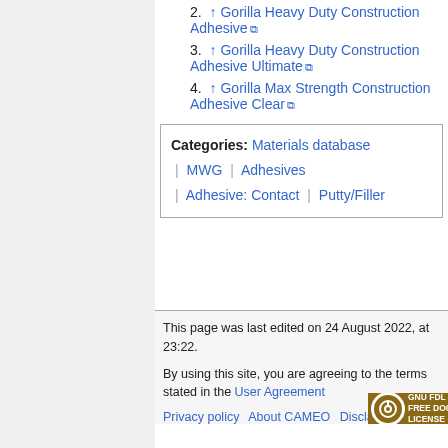2. ↑ Gorilla Heavy Duty Construction Adhesive
3. ↑ Gorilla Heavy Duty Construction Adhesive Ultimate
4. ↑ Gorilla Max Strength Construction Adhesive Clear
| Categories: | Materials database | MWG | Adhesives | Adhesive: Contact | Putty/Filler |
This page was last edited on 24 August 2022, at 23:22.
By using this site, you are agreeing to the terms stated in the User Agreement
Privacy policy   About CAMEO   Disclaimers